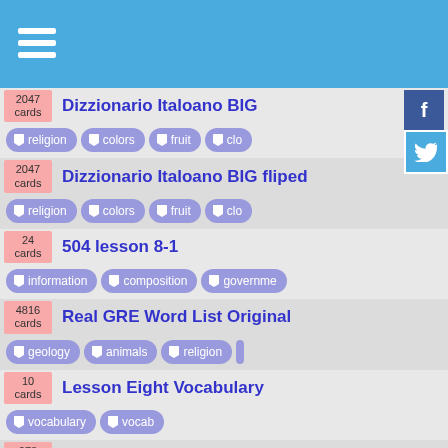2047 cards — Dizzionario Italoano BIG — tags: religion, colors, fruit, clo...
2047 cards — Dizzionario Italoano BIG fliped — tags: religion, colors, fruit, clo...
24 cards — 504 lesson 8-1 — tags: information, composition, governme...
4816 cards — Real GRE Word List Original — tags: geology, animals, religion
10 cards — Lesson Eight Vocabulary — tags: vocabulary, vocab
278 cards — spanish vocab final — tags: animals, religion, spanish
183 cards — school 1